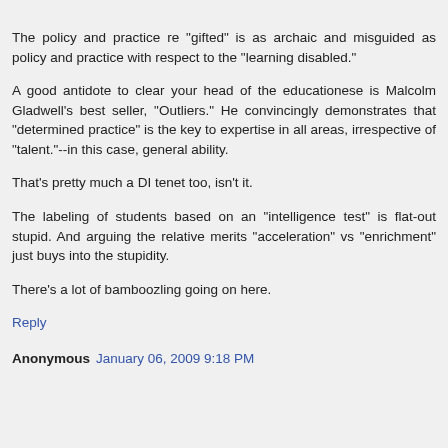The policy and practice re "gifted" is as archaic and misguided as policy and practice with respect to the "learning disabled."
A good antidote to clear your head of the educationese is Malcolm Gladwell's best seller, "Outliers." He convincingly demonstrates that "determined practice" is the key to expertise in all areas, irrespective of "talent."--in this case, general ability.
That's pretty much a DI tenet too, isn't it.
The labeling of students based on an "intelligence test" is flat-out stupid. And arguing the relative merits "acceleration" vs "enrichment" just buys into the stupidity.
There's a lot of bamboozling going on here.
Reply
Anonymous  January 06, 2009 9:18 PM